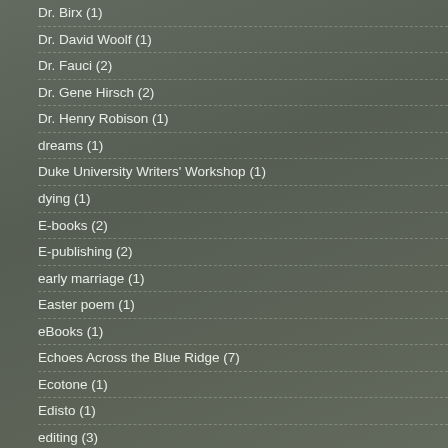Dr. Birx (1)
Dr. David Woolf (1)
Dr. Fauci (2)
Dr. Gene Hirsch (2)
Dr. Henry Robison (1)
dreams (1)
Duke University Writers' Workshop (1)
dying (1)
E-books (2)
E-publishing (2)
early marriage (1)
Easter poem (1)
eBooks (1)
Echoes Across the Blue Ridge (7)
Ecotone (1)
Edisto (1)
editing (3)
editing your prose (2)
editor (1)